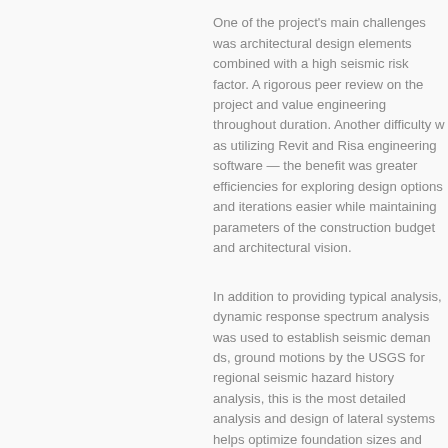One of the project's main challenges was architectural design elements combined with a high seismic risk factor. A rigorous peer review on the project and value engineering throughout duration. Another difficulty was utilizing Revit and Risa engineering software — the benefit was greater efficiencies for exploring design options and iterations easier while maintaining parameters of the construction budget and architectural vision.
In addition to providing typical analysis, dynamic response spectrum analysis was used to establish seismic demands, ground motions by the USGS for regional seismic hazard history analysis, this is the most detailed analysis and design of lateral systems helps optimize foundation sizes and reinforcing in shear walls.